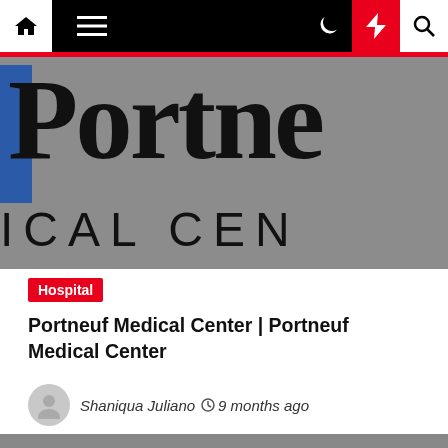Navigation bar with home, menu, dark mode, lightning, and search icons
[Figure (photo): Close-up photo of Portneuf Medical Center sign showing 'Portne' in large serif letters and 'ICAL CEN' text below on a gray background with a blue rectangle accent]
Hospital
Portneuf Medical Center | Portneuf Medical Center
Shaniqua Juliano  9 months ago